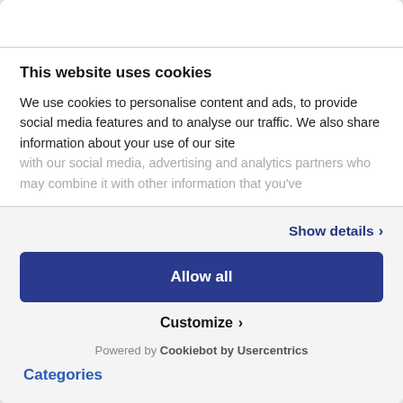This website uses cookies
We use cookies to personalise content and ads, to provide social media features and to analyse our traffic. We also share information about your use of our site with our social media, advertising and analytics partners who may combine it with other information that you've
Show details ›
Allow all
Customize ›
Powered by Cookiebot by Usercentrics
Categories